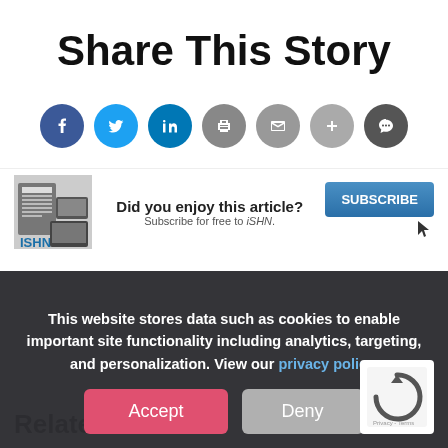Share This Story
[Figure (infographic): Seven social sharing icon circles: Facebook (dark blue), Twitter (light blue), LinkedIn (blue), Print (medium gray), Email (medium gray), Plus/More (light gray), Message (dark gray)]
[Figure (infographic): ISHN magazine subscription banner with logo image on left, text 'Did you enjoy this article? Subscribe for free to iSHN.' in middle, and blue SUBSCRIBE button on right with cursor icon]
This website stores data such as cookies to enable important site functionality including analytics, targeting, and personalization. View our privacy policy.
Accept  Deny
Related Articles